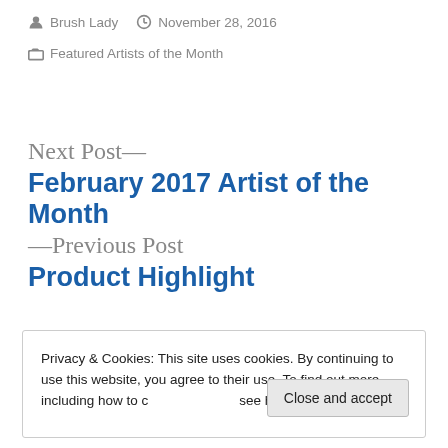Brush Lady  November 28, 2016
Featured Artists of the Month
Next Post—
February 2017 Artist of the Month
—Previous Post
Product Highlight
Privacy & Cookies: This site uses cookies. By continuing to use this website, you agree to their use. To find out more, including how to control cookies, see here: Cookie Policy
Close and accept